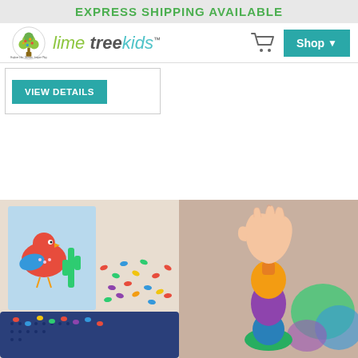EXPRESS SHIPPING AVAILABLE
[Figure (logo): Lime Tree Kids logo with tree icon and stylized text]
Shop
VIEW DETAILS
[Figure (photo): Colorful pegs and pegboard mosaic art toy pieces scattered on a surface with a bird-themed board]
[Figure (photo): Child's hand holding a colorful stacking toy piece, with more colorful pieces in background]